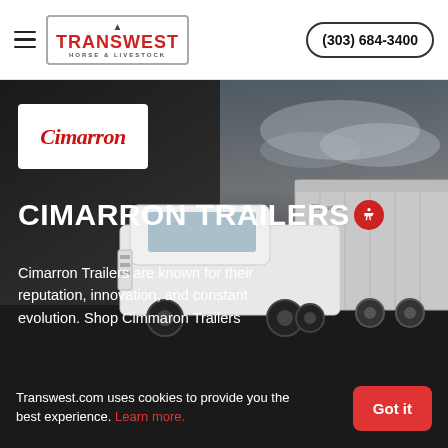Transwest Horse & Livestock | (303) 684-3400
[Figure (screenshot): Hero banner with a dark background showing a white truck pulling a silver Cimarron horse trailer against a dramatic cloudy sky. A white box with the Cimarron italic logo is overlaid on the left side.]
CIMARRON TRAILERS
Cimarron Trailers are known for their reputation, innovation, and constant evolution. Shop Cimmaron Trailers...
Transwest.com uses cookies to provide you the best experience. Learn more.